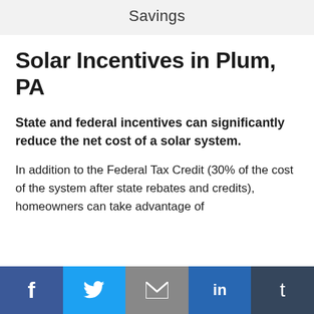Savings
Solar Incentives in Plum, PA
State and federal incentives can significantly reduce the net cost of a solar system.
In addition to the Federal Tax Credit (30% of the cost of the system after state rebates and credits), homeowners can take advantage of